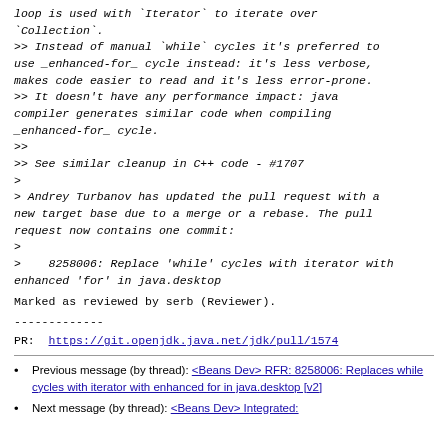loop is used with `Iterator` to iterate over `Collection`.
>> Instead of manual `while` cycles it's preferred to use _enhanced-for_ cycle instead: it's less verbose, makes code easier to read and it's less error-prone.
>> It doesn't have any performance impact: java compiler generates similar code when compiling _enhanced-for_ cycle.
>>
>> See similar cleanup in C++ code - #1707
>
> Andrey Turbanov has updated the pull request with a new target base due to a merge or a rebase. The pull request now contains one commit:
>
>    8258006: Replace 'while' cycles with iterator with enhanced 'for' in java.desktop
Marked as reviewed by serb (Reviewer).
-------------
PR:  https://git.openjdk.java.net/jdk/pull/1574
Previous message (by thread): <Beans Dev> RFR: 8258006: Replaces while cycles with iterator with enhanced for in java.desktop [v2]
Next message (by thread): <Beans Dev> Integrated: